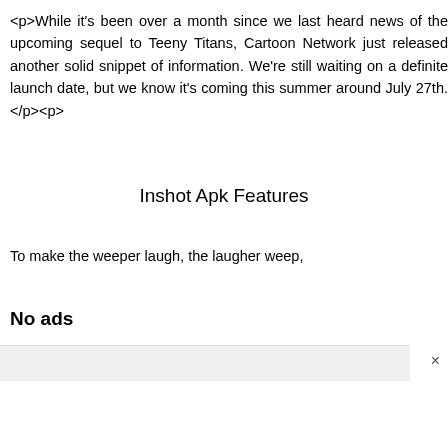<p>While it's been over a month since we last heard news of the upcoming sequel to Teeny Titans, Cartoon Network just released another solid snippet of information. We're still waiting on a definite launch date, but we know it's coming this summer around July 27th.</p><p>
Inshot Apk Features
To make the weeper laugh, the laugher weep,
No ads